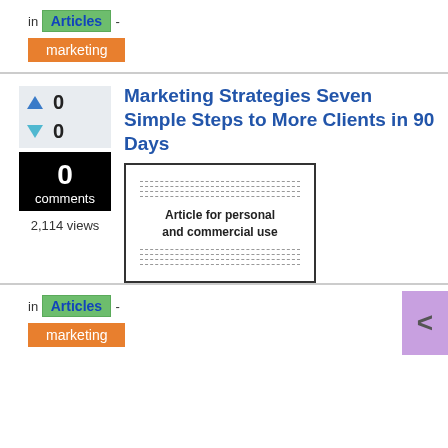in Articles - marketing
Marketing Strategies Seven Simple Steps to More Clients in 90 Days
[Figure (illustration): Thumbnail image of an article document with dashed lines and text 'Article for personal and commercial use']
0 comments
2,114 views
in Articles - marketing